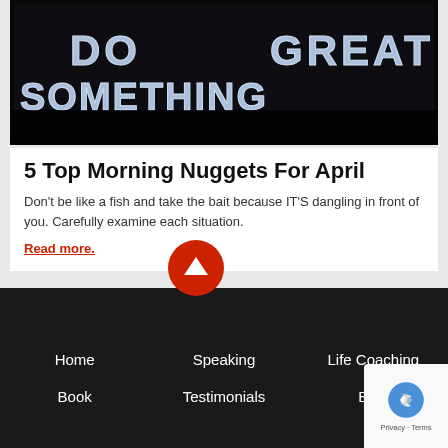[Figure (photo): Neon sign on dark background reading 'DO SOMETHING GREAT' in white letters]
5 Top Morning Nuggets For April
Don’t be like a fish and take the bait because IT’S dangling in front of you. Carefully examine each situation.
Read more.
[Figure (other): Red circular scroll-to-top button with white upward chevron]
Home
Speaking
Life Coaching
Book
Testimonials
Blog